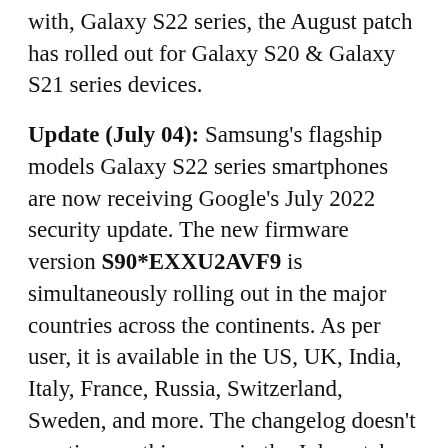with, Galaxy S22 series, the August patch has rolled out for Galaxy S20 & Galaxy S21 series devices.
Update (July 04): Samsung's flagship models Galaxy S22 series smartphones are now receiving Google's July 2022 security update. The new firmware version S90*EXXU2AVF9 is simultaneously rolling out in the major countries across the continents. As per user, it is available in the US, UK, India, Italy, France, Russia, Switzerland, Sweden, and more. The changelog doesn't mention anything new in the July patch. The company has already fixed many camera issues and other minor bugs in the June update.
Source:
Samsung
Forum
Update (June 12): The camera improvement update